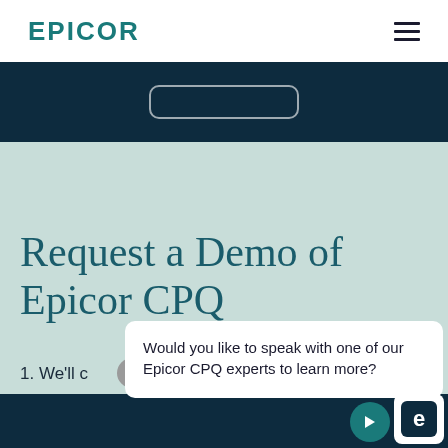EPICOR
Request a Demo of Epicor CPQ
1. We'll confirm and schedule a time.
Would you like to speak with one of our Epicor CPQ experts to learn more?